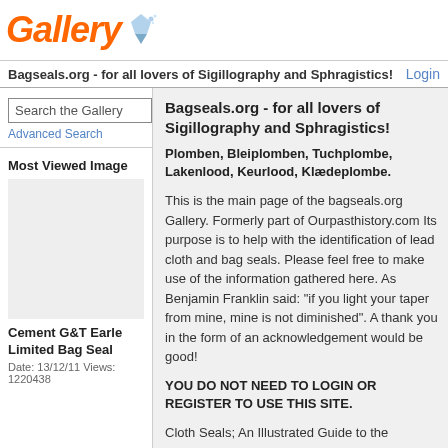[Figure (logo): Gallery logo with orange italic bold text and blue crystal/gem icon]
Bagseals.org - for all lovers of Sigillography and Sphragistics!    Login
Search the Gallery
Advanced Search
Most Viewed Image
[Figure (photo): Cement G&T Earle Limited Bag Seal image (blank/placeholder area)]
Cement G&T Earle Limited Bag Seal
Date: 13/12/11 Views: 1220438
Bagseals.org - for all lovers of Sigillography and Sphragistics!
Plomben, Bleiplomben, Tuchplombe, Lakenlood, Keurlood, Klædeplombe.
This is the main page of the bagseals.org Gallery. Formerly part of Ourpasthistory.com Its purpose is to help with the identification of lead cloth and bag seals. Please feel free to make use of the information gathered here. As Benjamin Franklin said: "if you light your taper from mine, mine is not diminished". A thank you in the form of an acknowledgement would be good!
YOU DO NOT NEED TO LOGIN OR REGISTER TO USE THIS SITE.
Cloth Seals; An Illustrated Guide to the Identification of Lead Seals Attached to Cloth: from the British Perspective by S.F. Elton is now available from Archaeopress (money off flyers).